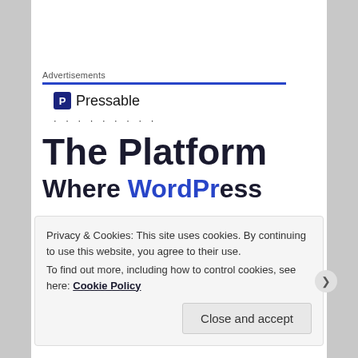Advertisements
[Figure (logo): Pressable logo with 'P' icon and text 'Pressable']
· · · · · · · · ·
The Platform
Wh... WordP...
After leaving his post as County Judge, he had a varied career in banking and business interests.
Privacy & Cookies: This site uses cookies. By continuing to use this website, you agree to their use.
To find out more, including how to control cookies, see here: Cookie Policy